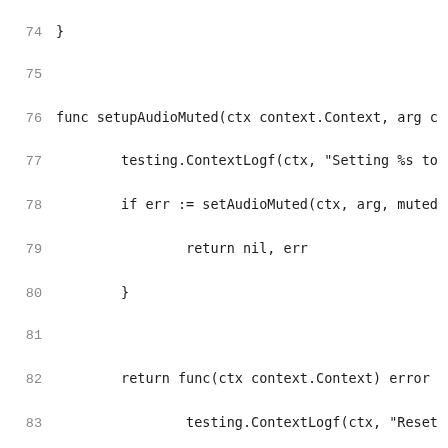Code listing lines 74-95, Go source code showing setupAudioMuted and setupAudioVolume functions
74     }
75
76 func setupAudioMuted(ctx context.Context, arg c
77         testing.ContextLogf(ctx, "Setting %s to
78         if err := setAudioMuted(ctx, arg, muted
79                 return nil, err
80         }
81
82         return func(ctx context.Context) error
83                 testing.ContextLogf(ctx, "Reset
84                 return setAudioMuted(ctx, arg, p
85         }, nil
86 }
87
88 func setupAudioVolume(ctx context.Context, volu
89         testing.ContextLogf(ctx, "Setting volume
90         if err := setAudioVolume(ctx, volume); e
91                 return nil, err
92         }
93
94         return func(ctx context.Context) error
95         testing.ContextLogf(ctx, "Reset